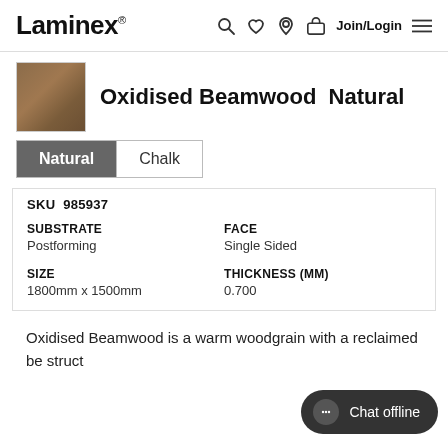Laminex — Join/Login navigation bar
Oxidised Beamwood Natural
Natural | Chalk
SKU 985937
|  |  |
| --- | --- |
| SUBSTRATE | FACE |
| Postforming | Single Sided |
| SIZE | THICKNESS (MM) |
| 1800mm x 1500mm | 0.700 |
Oxidised Beamwood is a warm woodgrain with a reclaimed be struct